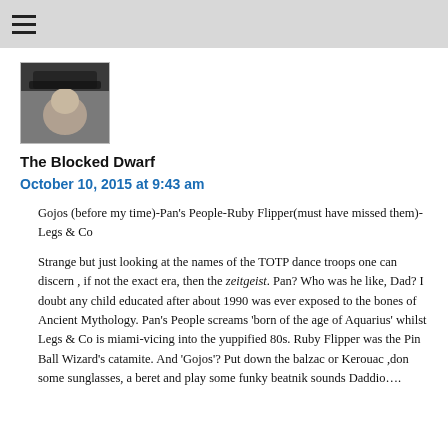≡
[Figure (photo): Small square avatar photo of a person wearing a hat, dark background]
The Blocked Dwarf
October 10, 2015 at 9:43 am
Gojos (before my time)-Pan's People-Ruby Flipper(must have missed them)-Legs & Co
Strange but just looking at the names of the TOTP dance troops one can discern , if not the exact era, then the zeitgeist. Pan? Who was he like, Dad? I doubt any child educated after about 1990 was ever exposed to the bones of Ancient Mythology. Pan's People screams 'born of the age of Aquarius' whilst Legs & Co is miami-vicing into the yuppified 80s. Ruby Flipper was the Pin Ball Wizard's catamite. And 'Gojos'? Put down the balzac or Kerouac ,don some sunglasses, a beret and play some funky beatnik sounds Daddio….